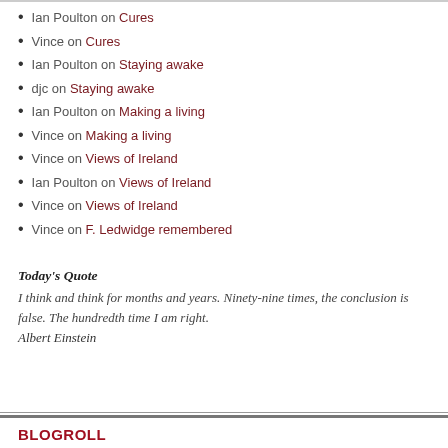Ian Poulton on Cures
Vince on Cures
Ian Poulton on Staying awake
djc on Staying awake
Ian Poulton on Making a living
Vince on Making a living
Vince on Views of Ireland
Ian Poulton on Views of Ireland
Vince on Views of Ireland
Vince on F. Ledwidge remembered
Today's Quote
I think and think for months and years. Ninety-nine times, the conclusion is false. The hundredth time I am right.
Albert Einstein
BLOGROLL